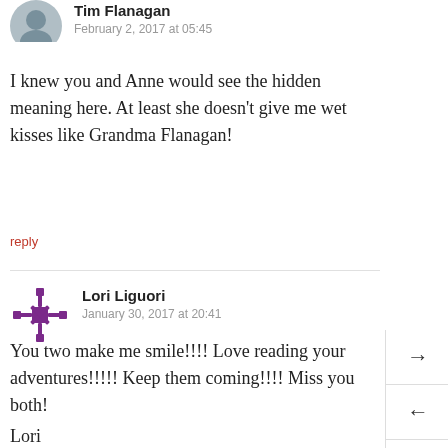Tim Flanagan
February 2, 2017 at 05:45
I knew you and Anne would see the hidden meaning here. At least she doesn’t give me wet kisses like Grandma Flanagan!
reply
Lori Liguori
January 30, 2017 at 20:41
You two make me smile!!!! Love reading your adventures!!!!! Keep them coming!!!! Miss you both!
Lori
reply
Tim Flanagan
February 2, 2017 at 05:46